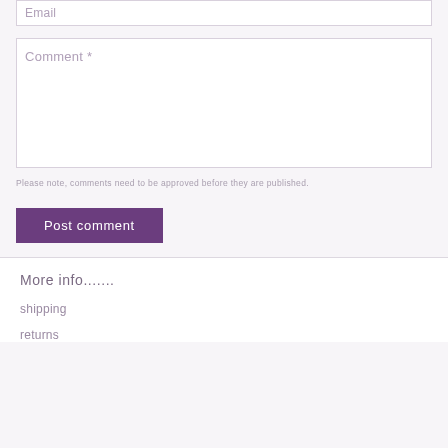Email
Comment *
Please note, comments need to be approved before they are published.
Post comment
More info.......
shipping
returns